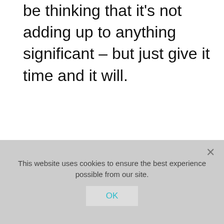be thinking that it's not adding up to anything significant – but just give it time and it will.
The jar only has one rule – you can put as much money in as you want, but you can't take any out.
Until one day in the future (that you
This website uses cookies to ensure the best experience possible from our site.